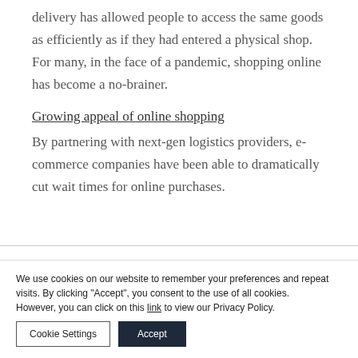delivery has allowed people to access the same goods as efficiently as if they had entered a physical shop. For many, in the face of a pandemic, shopping online has become a no-brainer.
Growing appeal of online shopping
By partnering with next-gen logistics providers, e-commerce companies have been able to dramatically cut wait times for online purchases.
We use cookies on our website to remember your preferences and repeat visits. By clicking “Accept”, you consent to the use of all cookies.
However, you can click on this link to view our Privacy Policy.
Cookie Settings
Accept